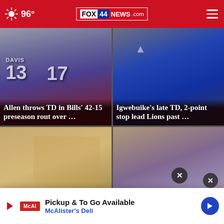96° FOX 44 NEWS.com
[Figure (photo): Buffalo Bills players in white jerseys with numbers 13 (Davis) and 17 on the field]
Allen throws TD in Bills' 42-15 preseason rout over ...
[Figure (photo): Detroit Lions player in blue jersey jumping to catch ball, Colts defender below]
Igwebuike's late TD, 2-point stop lead Lions past ...
[Figure (photo): Person holding food item at an event or restaurant]
[Figure (photo): Houston Astros player wearing H cap, blurred background]
Pickup & To Go Available
McAlister's Deli